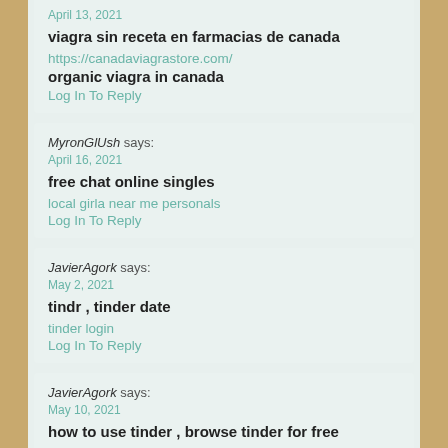April 13, 2021
viagra sin receta en farmacias de canada
https://canadaviagrastore.com/ organic viagra in canada
Log In To Reply
MyronGlUsh says:
April 16, 2021
free chat online singles
local girla near me personals
Log In To Reply
JavierAgork says:
May 2, 2021
tindr , tinder date
tinder login
Log In To Reply
JavierAgork says:
May 10, 2021
how to use tinder , browse tinder for free